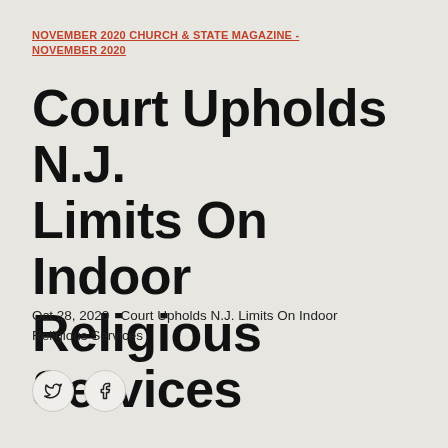NOVEMBER 2020 CHURCH & STATE MAGAZINE - NOVEMBER 2020
Court Upholds N.J. Limits On Indoor Religious Services
Oct 28, 2020   Court Upholds N.J. Limits On Indoor Religious Services
[Figure (other): Social media share buttons: Twitter (bird icon) and Facebook (f icon)]